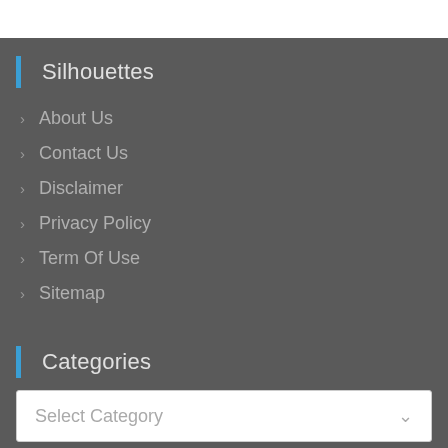Silhouettes
About Us
Contact Us
Disclaimer
Privacy Policy
Term Of Use
Sitemap
Categories
Select Category